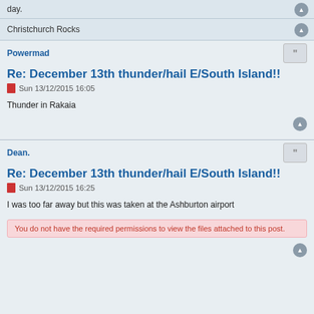day.
Christchurch Rocks
Powermad
Re: December 13th thunder/hail E/South Island!!
Sun 13/12/2015 16:05
Thunder in Rakaia
Dean.
Re: December 13th thunder/hail E/South Island!!
Sun 13/12/2015 16:25
I was too far away but this was taken at the Ashburton airport
You do not have the required permissions to view the files attached to this post.